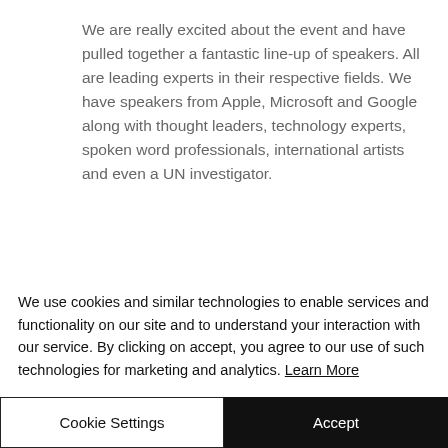We are really excited about the event and have pulled together a fantastic line-up of speakers. All are leading experts in their respective fields. We have speakers from Apple, Microsoft and Google along with thought leaders, technology experts, spoken word professionals, international artists and even a UN investigator.
We know this seems a broad spectrum
We use cookies and similar technologies to enable services and functionality on our site and to understand your interaction with our service. By clicking on accept, you agree to our use of such technologies for marketing and analytics. Learn More
Cookie Settings
Accept